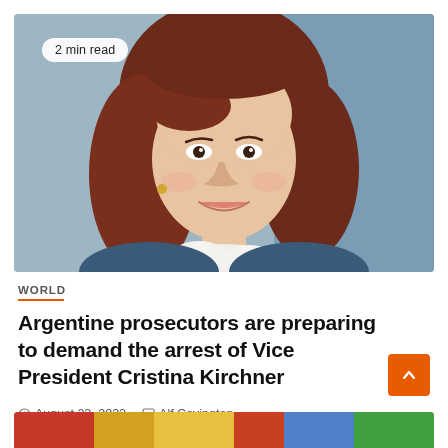[Figure (photo): Portrait photo of a smiling woman with reddish-brown wavy hair, wearing a white ruffled blouse and blue jacket, with a blue background. Badge overlay reads '2 min read'.]
WORLD
Argentine prosecutors are preparing to demand the arrest of Vice President Cristina Kirchner
August 22, 2022   Alf Covington
[Figure (photo): Partial bottom photo showing colorful clothing, partially cropped.]